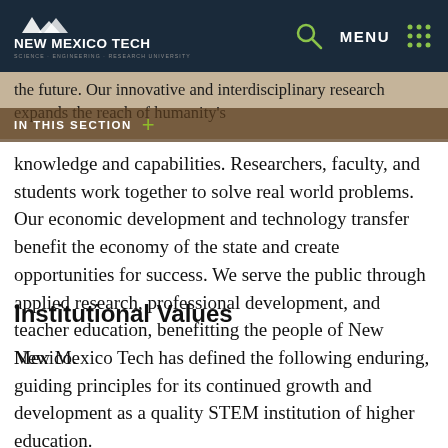NEW MEXICO TECH — Navigation bar with logo, search icon, and MENU
the future. Our innovative and interdisciplinary research expands the reach of humanity's knowledge and capabilities. Researchers, faculty, and students work together to solve real world problems. Our economic development and technology transfer benefit the economy of the state and create opportunities for success. We serve the public through applied research, professional development, and teacher education, benefitting the people of New Mexico.
Institutional Values
New Mexico Tech has defined the following enduring, guiding principles for its continued growth and development as a quality STEM institution of higher education.